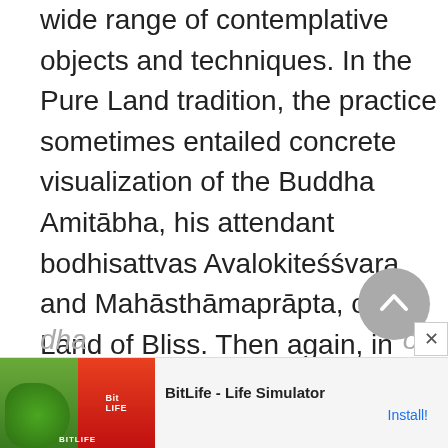wide range of contemplative objects and techniques. In the Pure Land tradition, the practice sometimes entailed concrete visualization of the Buddha Amitābha, his attendant bodhisattvas Avalokiteśśvara and Mahāsthāmaprāpta, or the Land of Bliss. Then again, in contrast to these tangible visualizations, the practice at other times required a meditation on the formless and empty nature of the Buddha's ultimate reality, the dha…on
[Figure (other): Advertisement banner for BitLife - Life Simulator app with install button]